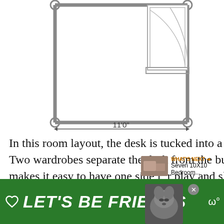[Figure (engineering-diagram): Floor plan diagram of a bedroom showing dimensions. The room outline is drawn with thick gray lines and circular corner connectors. A window is shown on the right wall with diagonal lines indicating glass. A dimension line at the bottom reads 11'0".]
In this room layout, the desk is tucked into a nook underneath the bedroom window. Two wardrobes separate the desk from the bunk beds. This slight bit of separation makes it easy to have one side for play and sleep and the other side for dedicated work. For a child's room, it's important to have two distinct areas.
[Figure (other): UI overlay elements: a gold heart/like button showing 14 likes, a share button, and a 'WHAT'S NEXT' card with a thumbnail image linking to 'Seven 10X10 Bedroom...']
[Figure (other): Green advertisement banner at bottom reading 'LET'S BE FRIENDS' with a dog image, a close button, and music app icon.]